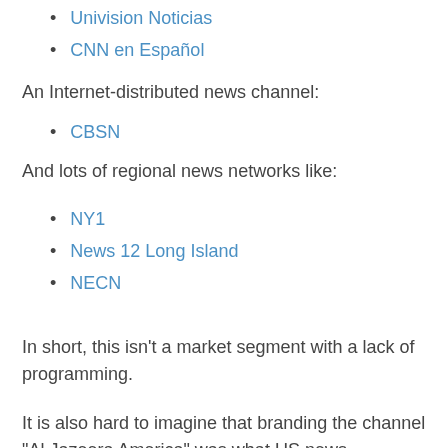Univision Noticias
CNN en Español
An Internet-distributed news channel:
CBSN
And lots of regional news networks like:
NY1
News 12 Long Island
NECN
In short, this isn't a market segment with a lack of programming.
It is also hard to imagine that branding the channel "Al Jazeera America" was what US news consumers wanted. Irrespective of the quality of the programming on the channel (which I thought was good, from the little I saw, if somewhat stilted in a PBS/BBC kind of way), the name "Al Jazeera" was most closely associated with the co-owned Arabic-language Al Jazeera — a point of reference on the